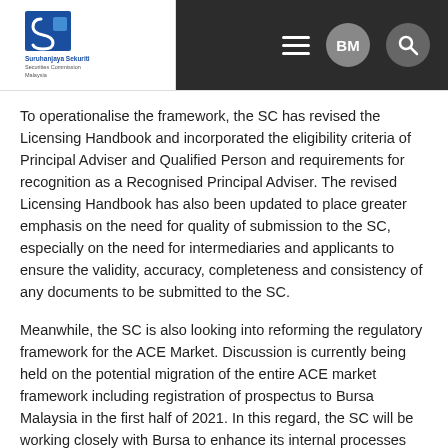Suruhanjaya Sekuriti Securities Commission Malaysia — BM | Search
To operationalise the framework, the SC has revised the Licensing Handbook and incorporated the eligibility criteria of Principal Adviser and Qualified Person and requirements for recognition as a Recognised Principal Adviser. The revised Licensing Handbook has also been updated to place greater emphasis on the need for quality of submission to the SC, especially on the need for intermediaries and applicants to ensure the validity, accuracy, completeness and consistency of any documents to be submitted to the SC.
Meanwhile, the SC is also looking into reforming the regulatory framework for the ACE Market. Discussion is currently being held on the potential migration of the entire ACE market framework including registration of prospectus to Bursa Malaysia in the first half of 2021. In this regard, the SC will be working closely with Bursa to enhance its internal processes and resources in order for Bursa Malaysia to undertake this additional function.